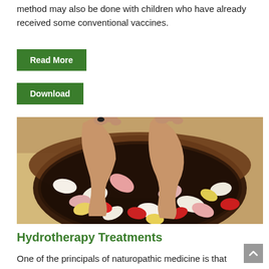method may also be done with children who have already received some conventional vaccines.
Read More
Download
[Figure (photo): A person's feet soaking in a dark bowl filled with water and colorful flower petals (pink, white, red, yellow), placed on a beige towel.]
Hydrotherapy Treatments
One of the principals of naturopathic medicine is that